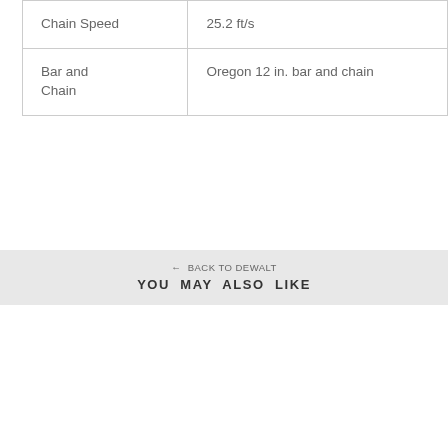| Chain Speed | 25.2 ft/s |
| Bar and Chain | Oregon 12 in. bar and chain |
← BACK TO DEWALT
YOU MAY ALSO LIKE